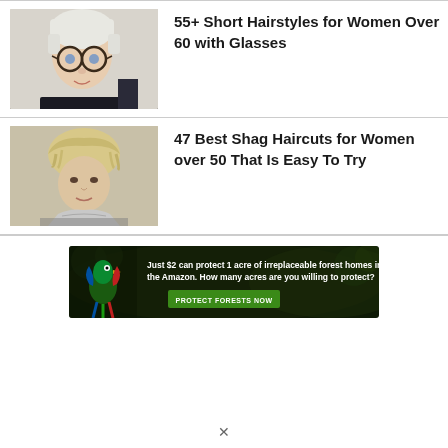[Figure (photo): Photo of a woman with short white/blonde pixie cut and round dark glasses, smiling slightly, wearing dark clothing]
55+ Short Hairstyles for Women Over 60 with Glasses
[Figure (photo): Photo of a woman with shaggy blonde hair, light-colored scarf, looking forward with a gentle smile]
47 Best Shag Haircuts for Women over 50 That Is Easy To Try
[Figure (infographic): Advertisement banner: dark forest background with tropical bird. Text: 'Just $2 can protect 1 acre of irreplaceable forest homes in the Amazon. How many acres are you willing to protect?' Button: PROTECT FORESTS NOW]